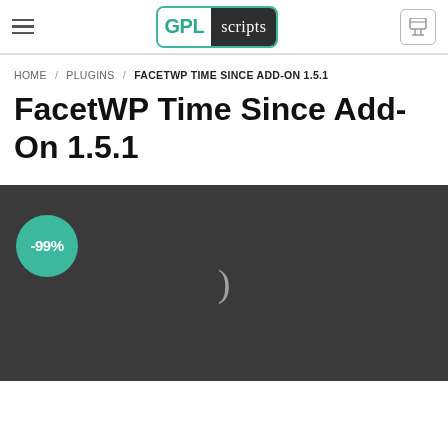[Figure (logo): GPL Scripts website header with hamburger menu, GPL Scripts logo (green and dark), and cart icon]
HOME / PLUGINS / FACETWP TIME SINCE ADD-ON 1.5.1
FacetWP Time Since Add-On 1.5.1
[Figure (photo): Dark grey product image with a -99% discount badge (teal circle) in the bottom-left and a loading spinner symbol in the center]